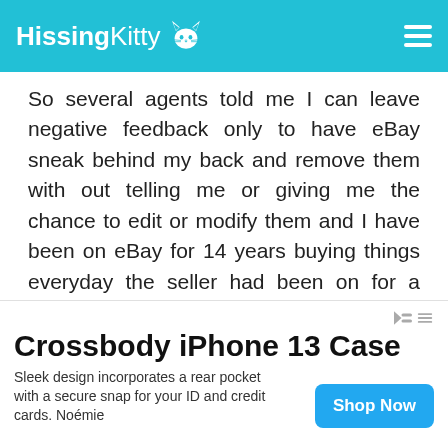HissingKitty
So several agents told me I can leave negative feedback only to have eBay sneak behind my back and remove them with out telling me or giving me the chance to edit or modify them and I have been on eBay for 14 years buying things everyday the seller had been on for a year. They don't give a hoot about buyers and only favor sellers very bogus offensive policy and treatment. Thepopupshop.in north Carolina.
Crossbody iPhone 13 Case
Sleek design incorporates a rear pocket with a secure snap for your ID and credit cards. Noémie
Shop Now